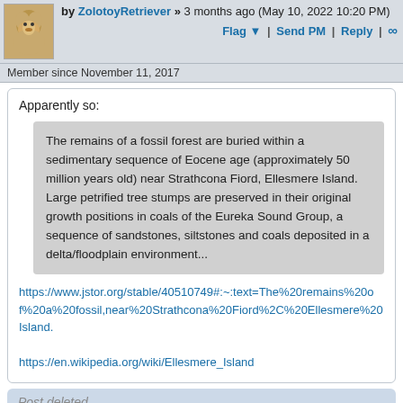by ZolotoyRetriever » 3 months ago (May 10, 2022 10:20 PM)
Flag ▼ | Send PM | Reply | ∞
Member since November 11, 2017
Apparently so:
The remains of a fossil forest are buried within a sedimentary sequence of Eocene age (approximately 50 million years old) near Strathcona Fiord, Ellesmere Island. Large petrified tree stumps are preserved in their original growth positions in coals of the Eureka Sound Group, a sequence of sandstones, siltstones and coals deposited in a delta/floodplain environment...
https://www.jstor.org/stable/40510749#:~:text=The%20remains%20of%20a%20fossil,near%20Strathcona%20Fiord%2C%20Ellesmere%20Island.
https://en.wikipedia.org/wiki/Ellesmere_Island
Post deleted
This message has been deleted.
▲ Top